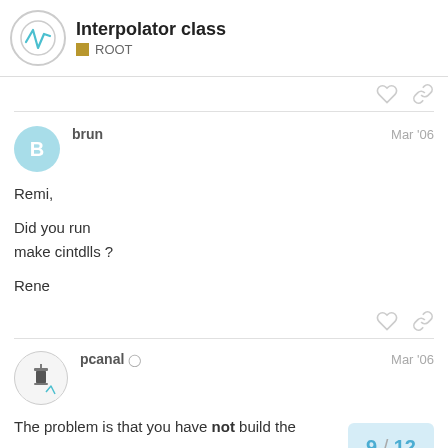Interpolator class ROOT
brun Mar '06
Remi,

Did you run
make cintdlls ?

Rene
pcanal Mar '06
The problem is that you have not build the (or at least a dictionary for vector)
9 / 12